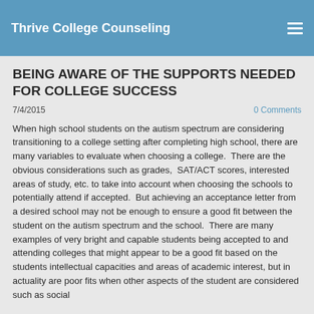Thrive College Counseling
BEING AWARE OF THE SUPPORTS NEEDED FOR COLLEGE SUCCESS
7/4/2015    0 Comments
When high school students on the autism spectrum are considering transitioning to a college setting after completing high school, there are many variables to evaluate when choosing a college.  There are the obvious considerations such as grades,  SAT/ACT scores, interested areas of study, etc. to take into account when choosing the schools to potentially attend if accepted.  But achieving an acceptance letter from a desired school may not be enough to ensure a good fit between the student on the autism spectrum and the school.  There are many examples of very bright and capable students being accepted to and attending colleges that might appear to be a good fit based on the students intellectual capacities and areas of academic interest, but in actuality are poor fits when other aspects of the student are considered such as social